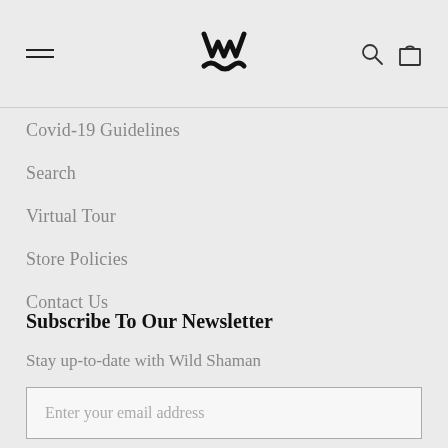Wild Shaman navigation header with hamburger menu, logo, search and cart icons
Covid-19 Guidelines
Search
Virtual Tour
Store Policies
Contact Us
Subscribe To Our Newsletter
Stay up-to-date with Wild Shaman
Enter your email address